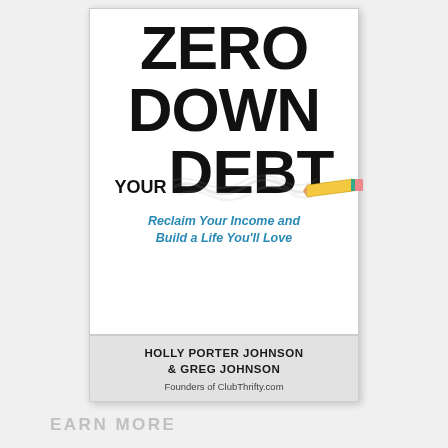[Figure (illustration): Book cover for 'Zero Down Your Debt' by Holly Porter Johnson & Greg Johnson. Large bold black text reads ZERO, DOWN, YOUR DEBT with a pencil erasing the word DEBT. Subtitle in blue italic reads 'Reclaim Your Income and Build a Life You'll Love'. Author names and 'Founders of ClubThrifty.com' appear at the bottom on a lighter gray band.]
EARN MORE